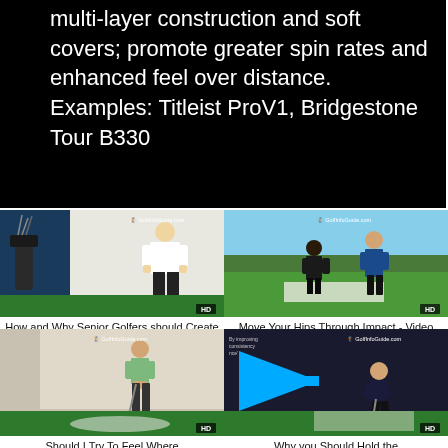multi-layer construction and soft covers; promote greater spin rates and enhanced feel over distance. Examples: Titleist ProV1, Bridgestone Tour B330
[Figure (screenshot): Video thumbnail: golf instructor standing on indoor green mat with golf bag, GolfInfoGuide.com logo visible]
How and Why Senior Golfers should Create a Compact Golf Swing Video - by Dean Butler
[Figure (screenshot): Video thumbnail: two golfers on outdoor driving range, one demonstrating hip movement through impact, GolfInfoGuide.com logo]
Move Your Hips Through Impact - Video Lesson by PGA Pros Pete Styles and Matt Fryer
[Figure (screenshot): Video thumbnail: golfer standing on indoor green mat in lighter setting, GolfInfoGuide.com logo]
Should I Try To Feel Where
[Figure (screenshot): Video thumbnail: golfer at address position with blue arrow indicating movement direction, GolfInfoGuide.com logo]
Why you Should Hold the